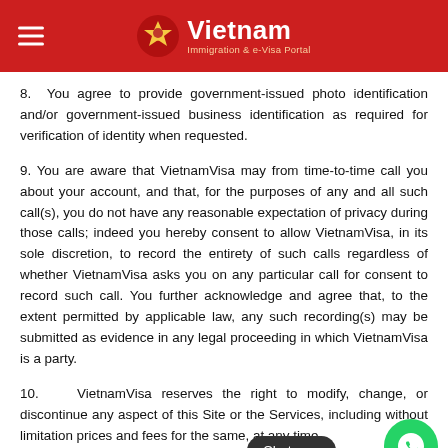Vietnam Immigration & e-Visa Portal
8. You agree to provide government-issued photo identification and/or government-issued business identification as required for verification of identity when requested.
9. You are aware that VietnamVisa may from time-to-time call you about your account, and that, for the purposes of any and all such call(s), you do not have any reasonable expectation of privacy during those calls; indeed you hereby consent to allow VietnamVisa, in its sole discretion, to record the entirety of such calls regardless of whether VietnamVisa asks you on any particular call for consent to record such call. You further acknowledge and agree that, to the extent permitted by applicable law, any such recording(s) may be submitted as evidence in any legal proceeding in which VietnamVisa is a party.
10. VietnamVisa reserves the right to modify, change, or discontinue any aspect of this Site or the Services, including without limitation prices and fees for the same, at any time.